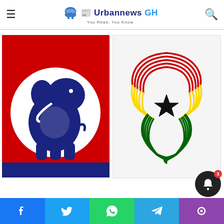Urbannews GH — You Read, You Know
[Figure (logo): NPP (New Patriotic Party) logo — blue elephant on white circle, red background]
[Figure (illustration): Fingerprint in the shape/colors of the Ghana flag — red, gold, green stripes with black star]
[Figure (other): Social media sharing bar: Facebook, Twitter, WhatsApp, Telegram, and one more button]